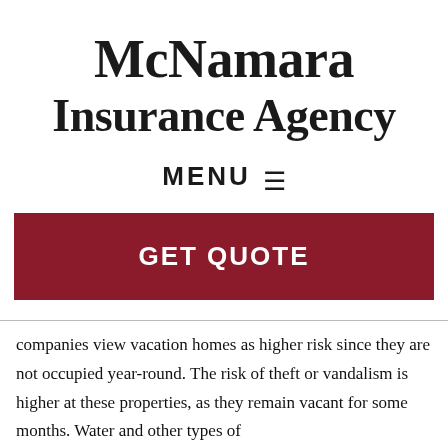McNamara Insurance Agency
MENU ☰
GET QUOTE
companies view vacation homes as higher risk since they are not occupied year-round. The risk of theft or vandalism is higher at these properties, as they remain vacant for some months. Water and other types of